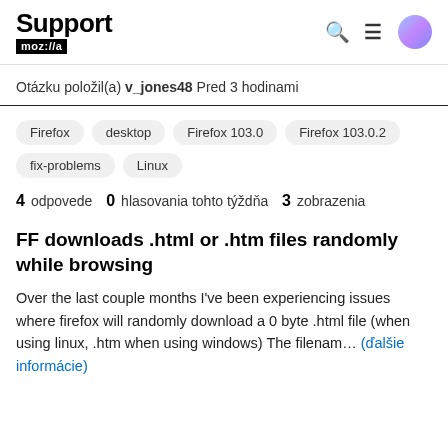Support mozilla // a
Otázku položil(a) v_jones48 Pred 3 hodinami
Firefox
desktop
Firefox 103.0
Firefox 103.0.2
fix-problems
Linux
4 odpovede  0  hlasovania tohto týždňa  3  zobrazenia
FF downloads .html or .htm files randomly while browsing
Over the last couple months I've been experiencing issues where firefox will randomly download a 0 byte .html file (when using linux, .htm when using windows) The filenam… (ďalšie informácie)